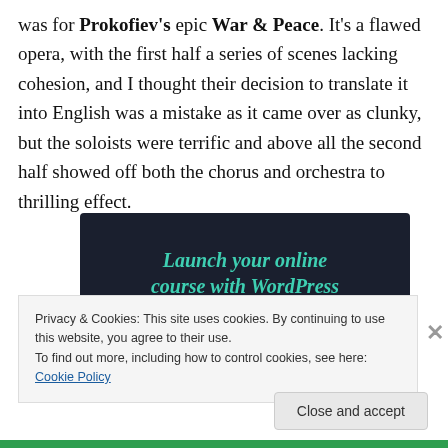was for Prokofiev's epic War & Peace. It's a flawed opera, with the first half a series of scenes lacking cohesion, and I thought their decision to translate it into English was a mistake as it came over as clunky, but the soloists were terrific and above all the second half showed off both the chorus and orchestra to thrilling effect.
[Figure (other): Advertisement banner with dark background reading 'Launch your online course with WordPress' with a teal 'Learn More' button]
Privacy & Cookies: This site uses cookies. By continuing to use this website, you agree to their use.
To find out more, including how to control cookies, see here: Cookie Policy
Close and accept